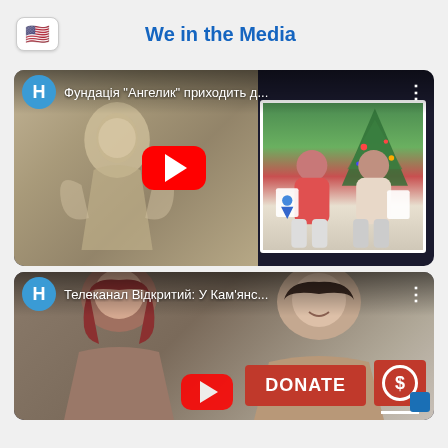[Figure (screenshot): US flag icon button in top left corner]
We in the Media
[Figure (screenshot): YouTube video thumbnail showing Ukrainian foundation video titled 'Фундація "Ангелик" приходить д...' with sepia-toned children holding angel drawings, and a color photo of two girls holding drawings in front of a Christmas tree. Red YouTube play button in center. Blue 'H' avatar in top-left of video.]
[Figure (screenshot): YouTube video thumbnail showing 'Телеканал Відкритий: У Кам'янс...' with two women. Red DONATE button and dollar-sign donation icon overlay in bottom right. Partially visible red YouTube play button. Blue corner element.]